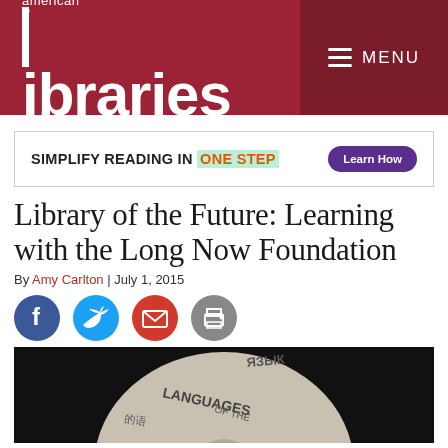american libraries — MENU
[Figure (other): Advertisement banner: SIMPLIFY READING IN ONE STEP with Learn How button]
Library of the Future: Learning with the Long Now Foundation
By Amy Carlton | July 1, 2015
[Figure (other): Social sharing icons: Facebook (blue), Twitter (light blue), Email (red), Print (gray)]
[Figure (photo): Dark background photo showing a circular disc with text 'LANGUAGES' in multiple scripts including Cyrillic (ЯЗЫК) and Chinese characters (的语)]